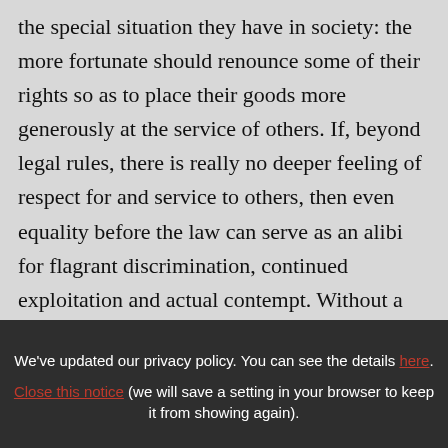the special situation they have in society: the more fortunate should renounce some of their rights so as to place their goods more generously at the service of others. If, beyond legal rules, there is really no deeper feeling of respect for and service to others, then even equality before the law can serve as an alibi for flagrant discrimination, continued exploitation and actual contempt. Without a renewed education in solidarity, an
We've updated our privacy policy. You can see the details here. Close this notice (we will save a setting in your browser to keep it from showing again).